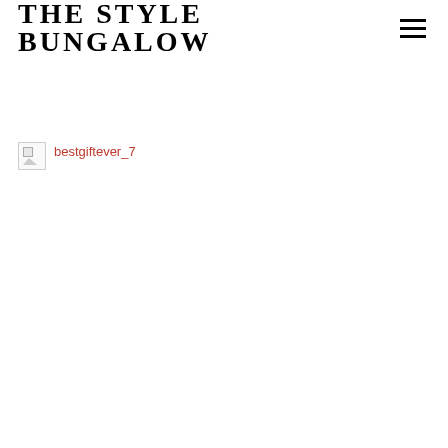THE STYLE BUNGALOW
[Figure (other): Broken image placeholder with alt text 'bestgiftever_7']